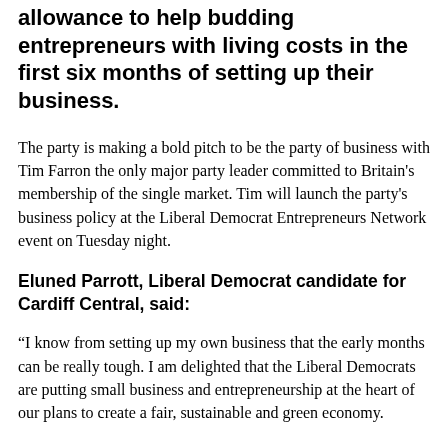allowance to help budding entrepreneurs with living costs in the first six months of setting up their business.
The party is making a bold pitch to be the party of business with Tim Farron the only major party leader committed to Britain's membership of the single market. Tim will launch the party's business policy at the Liberal Democrat Entrepreneurs Network event on Tuesday night.
Eluned Parrott, Liberal Democrat candidate for Cardiff Central, said:
“I know from setting up my own business that the early months can be really tough. I am delighted that the Liberal Democrats are putting small business and entrepreneurship at the heart of our plans to create a fair, sustainable and green economy.